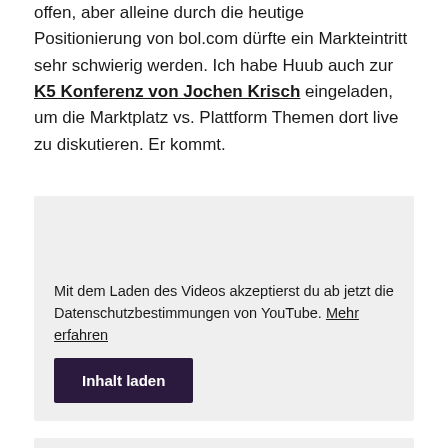offen, aber alleine durch die heutige Positionierung von bol.com dürfte ein Markteintritt sehr schwierig werden. Ich habe Huub auch zur K5 Konferenz von Jochen Krisch eingeladen, um die Marktplatz vs. Plattform Themen dort live zu diskutieren. Er kommt.
Mit dem Laden des Videos akzeptierst du ab jetzt die Datenschutzbestimmungen von YouTube. Mehr erfahren
Inhalt laden